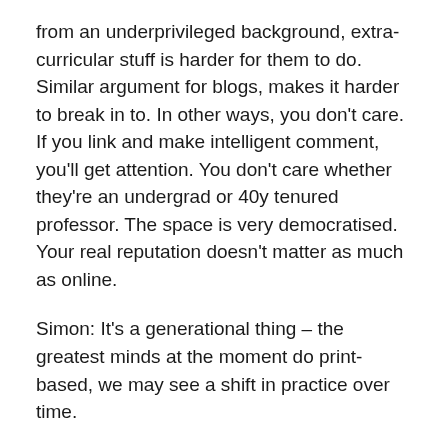from an underprivileged background, extra-curricular stuff is harder for them to do. Similar argument for blogs, makes it harder to break in to. In other ways, you don't care. If you link and make intelligent comment, you'll get attention. You don't care whether they're an undergrad or 40y tenured professor. The space is very democratised. Your real reputation doesn't matter as much as online.
Simon: It's a generational thing – the greatest minds at the moment do print-based, we may see a shift in practice over time.
Martin: What are the big shifts that are significant? What are the obstacles?